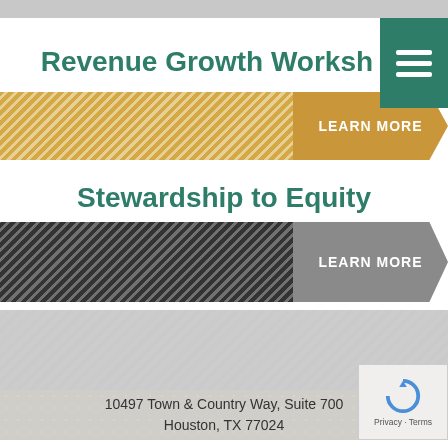Revenue Growth Workshop
[Figure (infographic): Gold hatched banner with LEARN MORE arrow button]
Stewardship to Equity
[Figure (infographic): Dark hatched banner with LEARN MORE arrow button]
[Figure (infographic): Light gray hatched footer banner]
10497 Town & Country Way, Suite 700
Houston, TX 77024